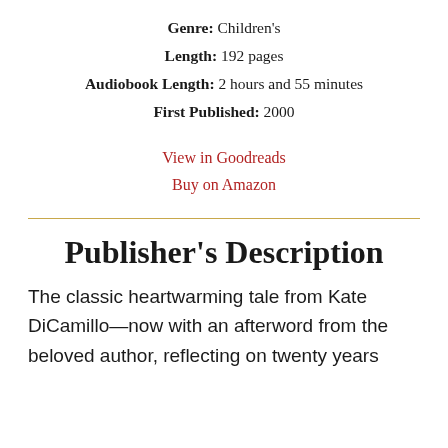Genre: Children's
Length: 192 pages
Audiobook Length: 2 hours and 55 minutes
First Published: 2000
View in Goodreads
Buy on Amazon
Publisher's Description
The classic heartwarming tale from Kate DiCamillo—now with an afterword from the beloved author, reflecting on twenty years